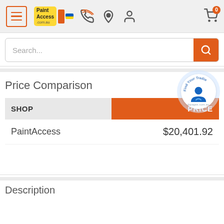[Figure (screenshot): PaintAccess.com.au mobile website header with hamburger menu, logo, phone icon, location icon, user icon, and cart icon with badge showing 0]
[Figure (screenshot): Search bar with placeholder text 'Search...' and orange search button]
Price Comparison
| SHOP | PRICE |
| --- | --- |
| PaintAccess | $20,401.92 |
Description